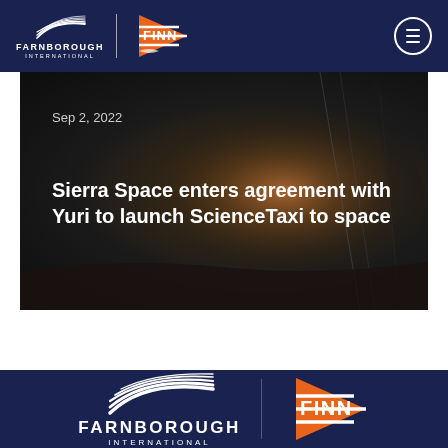[Figure (logo): Farnborough International FINN logo in navy navigation bar]
[Figure (photo): Dark atmospheric image of spacecraft interior or space environment with glowing light source]
Sep 2, 2022
Sierra Space enters agreement with Yuri to launch ScienceTaxi to space
[Figure (logo): Farnborough International FINN logo in navy footer bar]